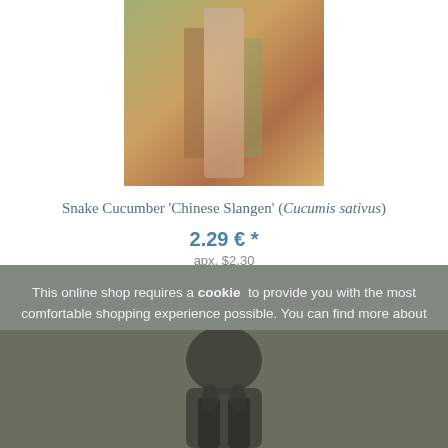[Figure (photo): Blurred photo of plant seeds or produce in a wooden/market setting]
Snake Cucumber 'Chinese Slangen' (Cucumis sativus)
2.29 € *
apx. $2.30
This online shop requires a cookie to provide you with the most comfortable shopping experience possible. You can find more about this in the Privacy policy.
[Figure (photo): Dimmed/dark background photo of plant or produce overlaid by cookie consent dialog]